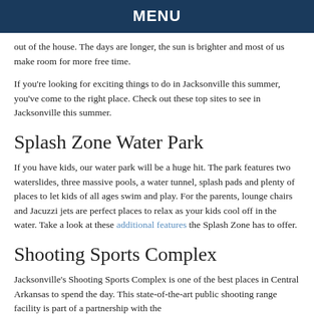MENU
out of the house. The days are longer, the sun is brighter and most of us make room for more free time.
If you're looking for exciting things to do in Jacksonville this summer, you've come to the right place. Check out these top sites to see in Jacksonville this summer.
Splash Zone Water Park
If you have kids, our water park will be a huge hit. The park features two waterslides, three massive pools, a water tunnel, splash pads and plenty of places to let kids of all ages swim and play. For the parents, lounge chairs and Jacuzzi jets are perfect places to relax as your kids cool off in the water. Take a look at these additional features the Splash Zone has to offer.
Shooting Sports Complex
Jacksonville's Shooting Sports Complex is one of the best places in Central Arkansas to spend the day. This state-of-the-art public shooting range facility is part of a partnership with the